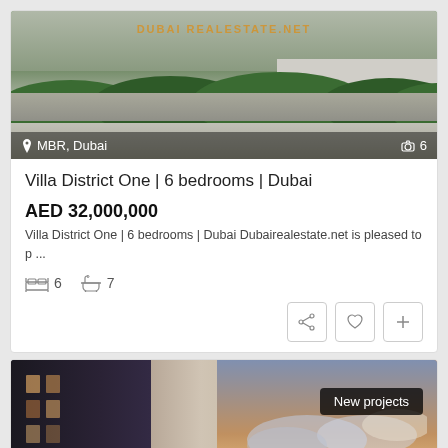[Figure (photo): Exterior photo of a villa in MBR Dubai, showing greenery/hedges, paved area, and building facade. Watermark reads DUBAIREALESTATE.NET. Location label: MBR, Dubai. Photo count: 6.]
Villa District One | 6 bedrooms | Dubai
AED 32,000,000
Villa District One | 6 bedrooms | Dubai Dubairealestate.net is pleased to p ...
6   7
[Figure (photo): Exterior photo of a modern apartment building at sunset/dusk with clouds. Badge overlay reads: New projects. WhatsApp button visible bottom right.]